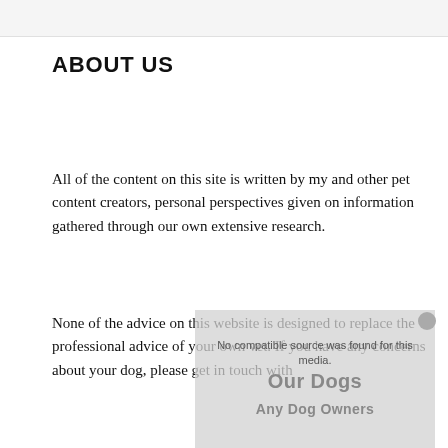ABOUT US
All of the content on this site is written by my and other pet content creators, personal perspectives given on information gathered through our own extensive research.
None of the advice on this website is designed to replace the professional advice of your own vet. If you have any concerns about your dog, please get in touch with
[Figure (other): Video overlay box with text 'No compatible source was found for this media.' and watermark text 'Our Dogs Any Dog Owners' with a close button]